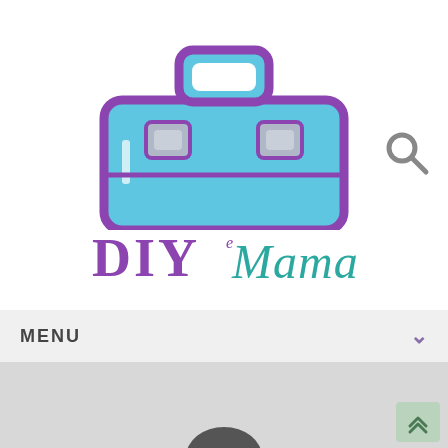[Figure (logo): DIY Mama logo: blue toolbox icon with purple border and handle, with text 'DIY' in purple block letters and 'Mama' in teal script below]
[Figure (other): Search magnifying glass icon in gray, top right of header]
MENU
[Figure (other): Hero image area showing partial figure/person against light gray background, with scroll-to-top button in bottom right corner]